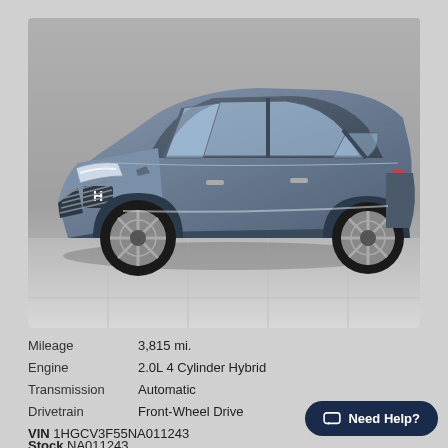[Figure (photo): Honda Accord sedan in gray/blue metallic color, photographed from a front 3/4 angle on a tiled floor background]
| Mileage | 3,815 mi. |
| Engine | 2.0L 4 Cylinder Hybrid |
| Transmission | Automatic |
| Drivetrain | Front-Wheel Drive |
VIN 1HGCV3F55NA011243
Stock NA011243